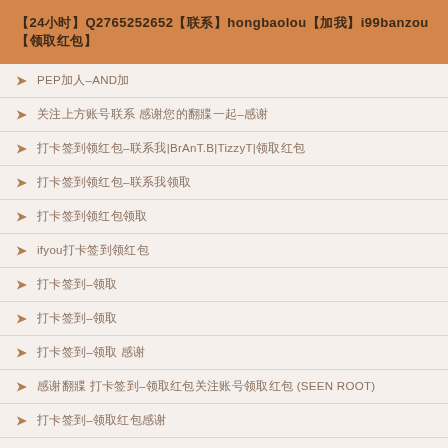【24小时】Q2765252652【联系】hongbaolou【加我】i99banzou【领取红包】
▶ PEP-加人–AND加
▶ 关注上方账号联系 感谢您的翻牌一起–感谢
▶ 打卡签到领红包–联系我|BrAnT.B|TizzyT|领取红包
▶ 打卡签到领红包–联系我领取
▶ 打卡签到领红包领取
▶ ifyou打卡签到领红包
▶ 打卡签到–领取
▶ 打卡签到–领取
▶ 打卡签到–领取 感谢
▶ 感谢翻牌 打卡签到–领取红包关注账号领取红包 (SEEN ROOT)
▶ 打卡签到–领取红包感谢
▶ 打卡签到领红包–领取红包关注账号领取
▶ 打卡签到领红–领取红包关注